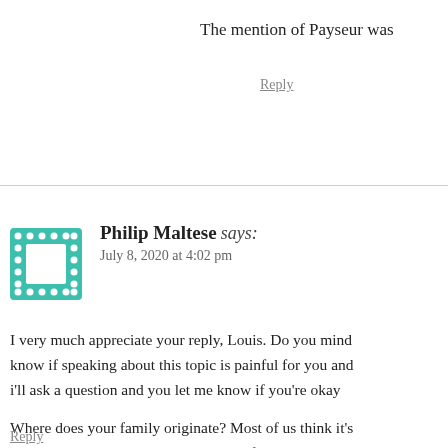The mention of Payseur was
Reply
Philip Maltese says:
July 8, 2020 at 4:02 pm
I very much appreciate your reply, Louis. Do you mind know if speaking about this topic is painful for you and i'll ask a question and you let me know if you're okay
Where does your family originate? Most of us think it's the pyramid because it's reported their family net worth learned about the Payseur's name I heard they were wo they gather all that through banking as well?
Thank you in advance.
Reply